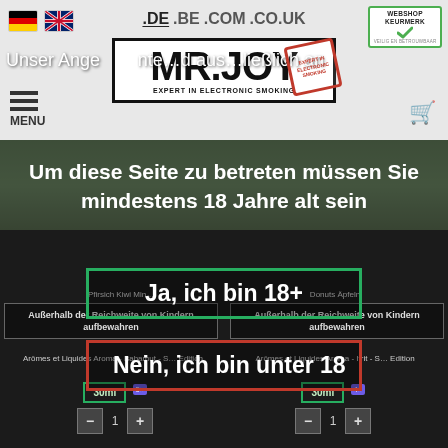[Figure (screenshot): MR.JOY webshop header with logo, language flags (German, UK), navigation links (.DE .BE .COM .CO.UK), Webshop Keurmerk badge, hamburger menu and cart icon]
Unser Ange…nte…d aus…ließlich an
MENU
Um diese Seite zu betreten müssen Sie mindestens 18 Jahre alt sein
Pfirsich Kiwi Min…   Donuts Äpfeln
Außerhalb der Reichweite von Kindern aufbewahren
Außerhalb der Reichweite von Kindern aufbewahren
Ja, ich bin 18+
Arômes et Liquides Aroma - Bahamut - S… Edition
Arômes et Liquides Aroma - Ifrit - S… Edition
Nein, ich bin unter 18
30ml
30ml